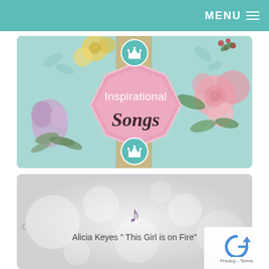MENU ☰
[Figure (illustration): Decorative banner image with floral vintage design. Pink badge in the center reads 'Inspirational Songs' with crown icons. Flowers and leaves surround the badge on a mint/teal background with a golden vertical stripe.]
[Figure (screenshot): Music player card with a purple music note icon and song title text 'Alicia Keyes " This Girl is on Fire"' on a light gray bokeh background. Left navigation arrow visible.]
Alicia Keyes " This Girl is on Fire"